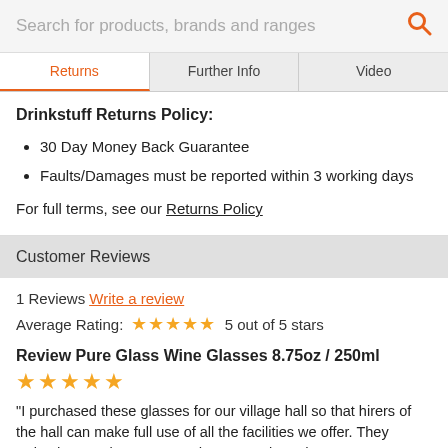Search for products, brands and ranges
Returns | Further Info | Video
Drinkstuff Returns Policy:
30 Day Money Back Guarantee
Faults/Damages must be reported within 3 working days
For full terms, see our Returns Policy
Customer Reviews
1 Reviews Write a review
Average Rating: ★★★★★ 5 out of 5 stars
Review Pure Glass Wine Glasses 8.75oz / 250ml
★★★★★
"I purchased these glasses for our village hall so that hirers of the hall can make full use of all the facilities we offer. They arrived promptly as expected, were packaged